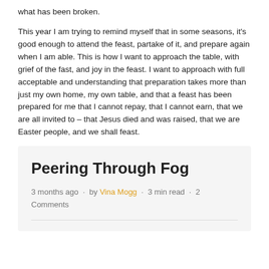what has been broken.
This year I am trying to remind myself that in some seasons, it's good enough to attend the feast, partake of it, and prepare again when I am able. This is how I want to approach the table, with grief of the fast, and joy in the feast. I want to approach with full acceptable and understanding that preparation takes more than just my own home, my own table, and that a feast has been prepared for me that I cannot repay, that I cannot earn, that we are all invited to – that Jesus died and was raised, that we are Easter people, and we shall feast.
Peering Through Fog
3 months ago · by Vina Mogg · 3 min read · 2 Comments